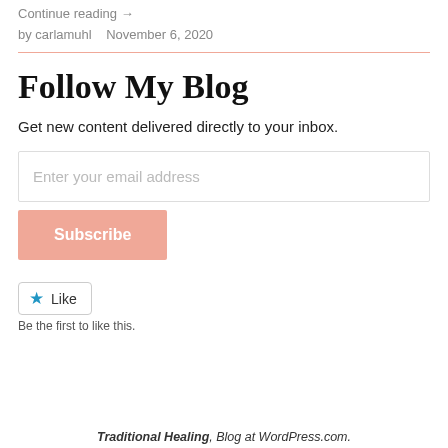Continue reading →
by carlamuhl   November 6, 2020
Follow My Blog
Get new content delivered directly to your inbox.
Enter your email address
Subscribe
Like
Be the first to like this.
Traditional Healing, Blog at WordPress.com.